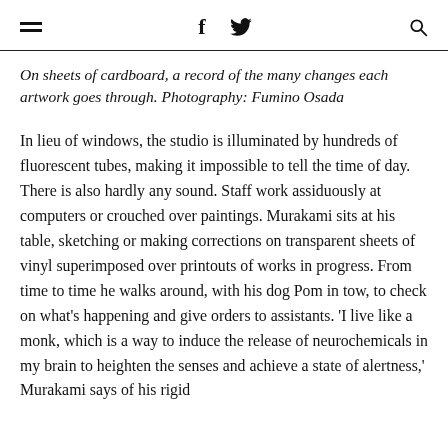≡  f  🐦  🔍
On sheets of cardboard, a record of the many changes each artwork goes through. Photography: Fumino Osada
In lieu of windows, the studio is illuminated by hundreds of fluorescent tubes, making it impossible to tell the time of day. There is also hardly any sound. Staff work assiduously at computers or crouched over paintings. Murakami sits at his table, sketching or making corrections on transparent sheets of vinyl superimposed over printouts of works in progress. From time to time he walks around, with his dog Pom in tow, to check on what's happening and give orders to assistants. 'I live like a monk, which is a way to induce the release of neurochemicals in my brain to heighten the senses and achieve a state of alertness,' Murakami says of his rigid